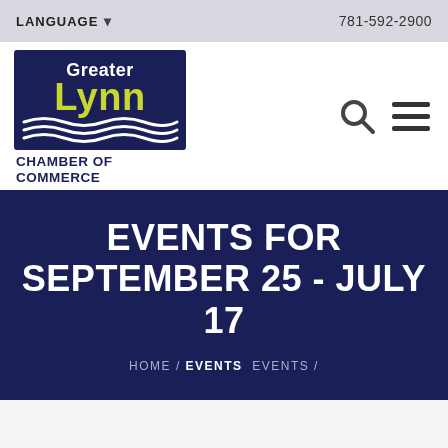LANGUAGE   781-592-2900
[Figure (logo): Greater Lynn Chamber of Commerce logo — dark navy blue square with 'Greater' in white and 'Lynn' in yellow-green bold text, wave graphic below, 'CHAMBER OF COMMERCE' text beneath in navy]
EVENTS FOR SEPTEMBER 25 - JULY 17
HOME / EVENTS   EVENTS /